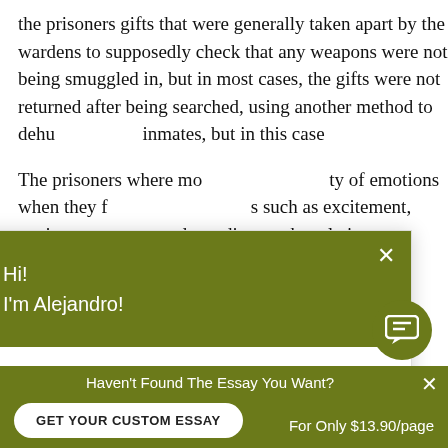the prisoners gifts that were generally taken apart by the wardens to supposedly check that any weapons were not being smuggled in, but in most cases, the gifts were not returned after being searched, using another method to dehumanize inmates, but in this case
The prisoners where mo... of emotions when they f... such as excitement, anxi... depending on the relatio... moment has passed, it w... under very bad circumstances and sadness or sh...
[Figure (screenshot): Chat popup with olive/dark-yellow header showing avatar of a man with beard and text 'Hi! I'm Alejandro!' with X close button. Body text says 'Would you like to get a custom essay? How about receiving a customized one?' with bold underlined link 'Check it out'. Chat icon button visible at bottom right.]
Haven't Found The Essay You Want?
GET YOUR CUSTOM ESSAY
For Only $13.90/page